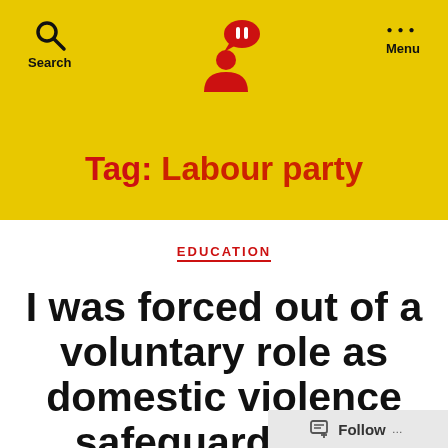Search  [person icon with speech bubble]  Menu
Tag: Labour party
EDUCATION
I was forced out of a voluntary role as domestic violence safeguarding...